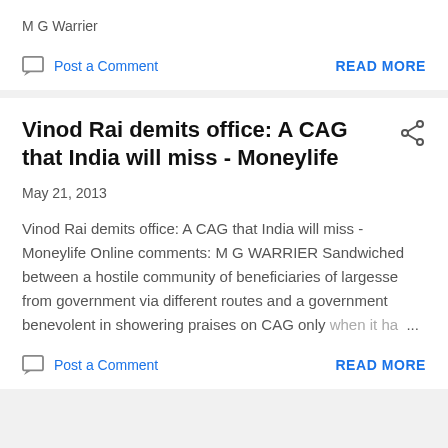M G Warrier
Post a Comment
READ MORE
Vinod Rai demits office: A CAG that India will miss - Moneylife
May 21, 2013
Vinod Rai demits office: A CAG that India will miss - Moneylife Online comments: M G WARRIER Sandwiched between a hostile community of beneficiaries of largesse from government via different routes and a government benevolent in showering praises on CAG only when it ha…
Post a Comment
READ MORE